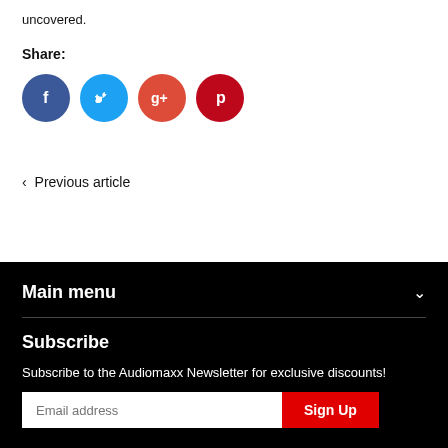uncovered.
Share:
[Figure (other): Social share icons: Facebook (blue circle), Twitter (light blue circle), Google+ (red circle), Pinterest (dark red circle)]
< Previous article
Main menu
Subscribe
Subscribe to the Audiomaxx Newsletter for exclusive discounts!
Email address  Sign Up